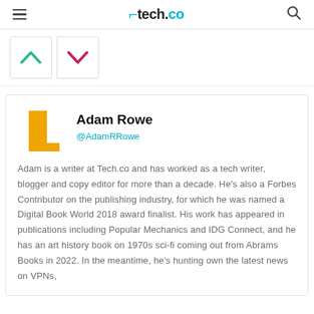tech.co
[Figure (logo): Upvote (green chevron up) and downvote (pink chevron down) buttons]
Adam Rowe
@AdamRRowe
Adam is a writer at Tech.co and has worked as a tech writer, blogger and copy editor for more than a decade. He's also a Forbes Contributor on the publishing industry, for which he was named a Digital Book World 2018 award finalist. His work has appeared in publications including Popular Mechanics and IDG Connect, and he has an art history book on 1970s sci-fi coming out from Abrams Books in 2022. In the meantime, he's hunting own the latest news on VPNs,